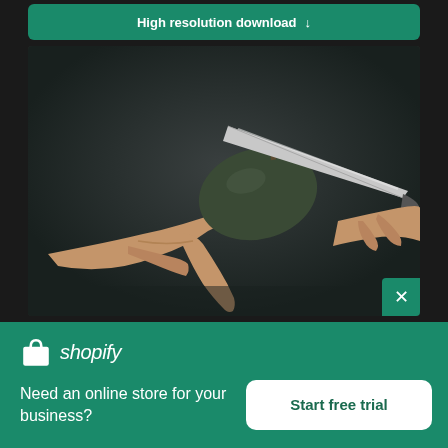High resolution download ↓
[Figure (photo): Two hands cutting or holding an avocado with a knife on a dark background]
[Figure (logo): Shopify logo — shopping bag icon with 'shopify' in italic white text]
Need an online store for your business?
Start free trial